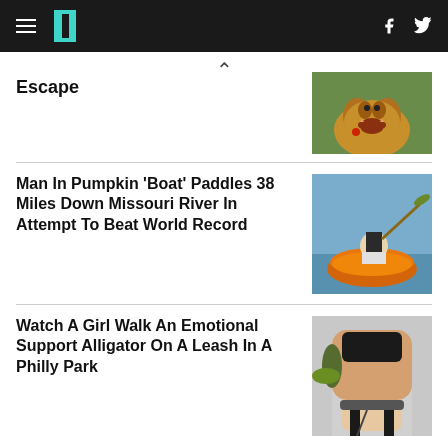HuffPost navigation header with hamburger menu, logo, Facebook and Twitter icons
Escape
[Figure (photo): A dog barking or growling outdoors on green grass]
Man In Pumpkin 'Boat' Paddles 38 Miles Down Missouri River In Attempt To Beat World Record
[Figure (photo): A person paddling in a giant orange pumpkin on a river, viewed from behind]
Watch A Girl Walk An Emotional Support Alligator On A Leash In A Philly Park
[Figure (photo): A girl walking an alligator on a leash on a sidewalk]